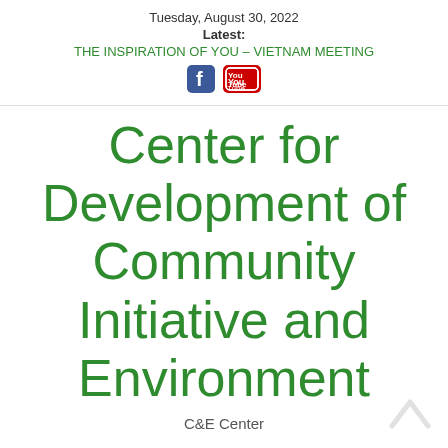Tuesday, August 30, 2022
Latest:
THE INSPIRATION OF YOU – VIETNAM MEETING
[Figure (logo): Facebook and YouTube social media icons]
Center for Development of Community Initiative and Environment
C&E Center